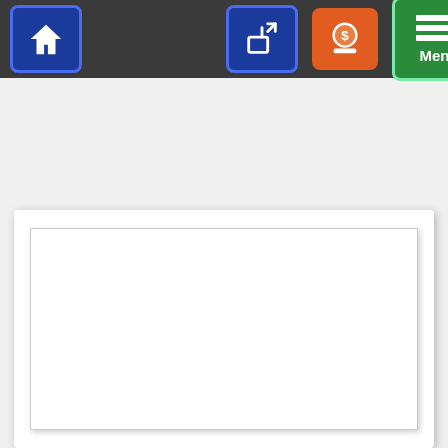[Figure (screenshot): Navigation bar with home, share, donate, and menu buttons]
« Back to Videos
[Figure (screenshot): Video player embed area — blank white rectangle with shadow inside a white card]